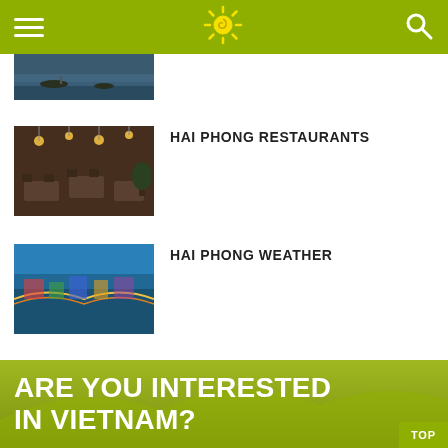Navigation header with hamburger menu, sun logo, and search icon
[Figure (photo): Partial view of a river scene with boats, cropped at top]
[Figure (photo): Interior of a restaurant with warm lighting, wooden decor, tables and chairs]
HAI PHONG RESTAURANTS
[Figure (photo): Aerial view of Hai Phong city with river, bridges and colorful urban area]
HAI PHONG WEATHER
1  2  3
ARE YOU INTERESTED IN VIETNAM?